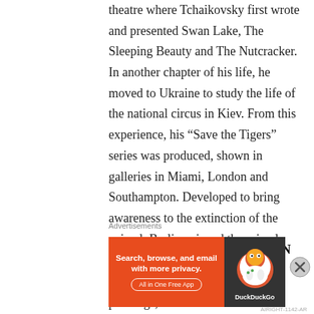theatre where Tchaikovsky first wrote and presented Swan Lake, The Sleeping Beauty and The Nutcracker. In another chapter of his life, he moved to Ukraine to study the life of the national circus in Kiev. From this experience, his “Save the Tigers” series was produced, shown in galleries in Miami, London and Southampton. Developed to bring awareness to the extinction of the animal, Berlin enjoyed the primal instinct that resonates from within.
AMBIGUOUS ADMIRATION
“The importance of the paintings, at least
Advertisements
[Figure (other): DuckDuckGo advertisement banner: orange left panel with text 'Search, browse, and email with more privacy.' and 'All in One Free App' button; dark right panel with DuckDuckGo logo duck icon.]